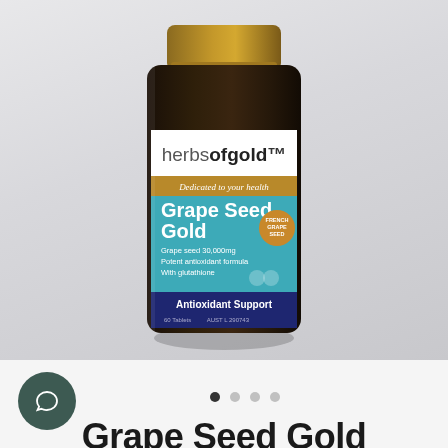[Figure (photo): A dark amber/brown supplement bottle with gold cap. Label shows 'herbsofgold' brand at top, 'Dedicated to your health' tagline on a gold-brown stripe, then a teal/blue section with 'Grape Seed Gold' product name in white, 'Grape seed 30,000mg', 'Potent antioxidant formula', 'With glutathione', a gold circular 'French Grape Seed' badge, and a dark navy blue band at bottom reading 'Antioxidant Support', '60 Tablets', 'AUST L 290743'. Bottle sits on a light grey gradient background.]
[Figure (infographic): Bottom UI bar with a dark green circular chat button on lower left, four dot pagination indicators (first filled dark, three light grey) in center, and large bold text 'Grape Seed Gold' cut off at bottom of page.]
Grape Seed Gold